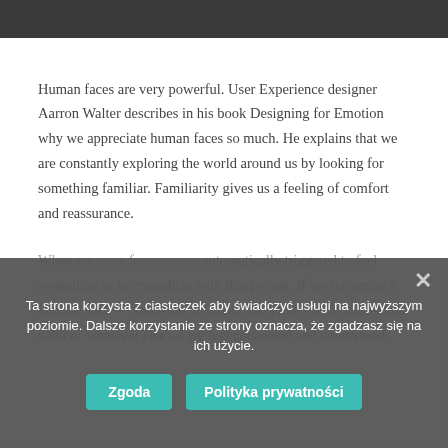[Figure (photo): Dark header image strip at top of page showing a blurred interior or crowd scene]
Human faces are very powerful. User Experience designer Aarron Walter describes in his book Designing for Emotion why we appreciate human faces so much. He explains that we are constantly exploring the world around us by looking for something familiar. Familiarity gives us a feeling of comfort and reassurance.
When we see a face, we are automatically triggered to feel something or to empathize with that person. If we recognize a familiar face — someone we trust, who proves us in a dilemma, habit or whatever else — we feel connected and understood.
Ta strona korzysta z ciasteczek aby świadczyć usługi na najwyższym poziomie. Dalsze korzystanie ze strony oznacza, że zgadzasz się na ich użycie.